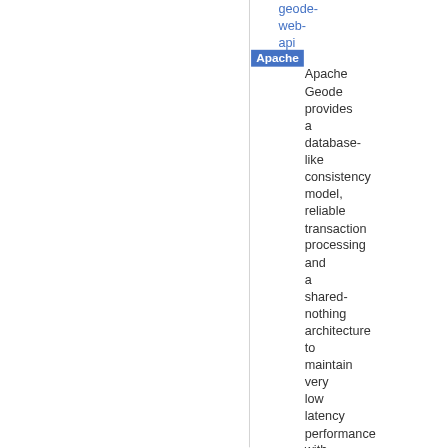geode-web-api
Apache
Apache Geode provides a database-like consistency model, reliable transaction processing and a shared-nothing architecture to maintain very low latency performance with high concurrency processing